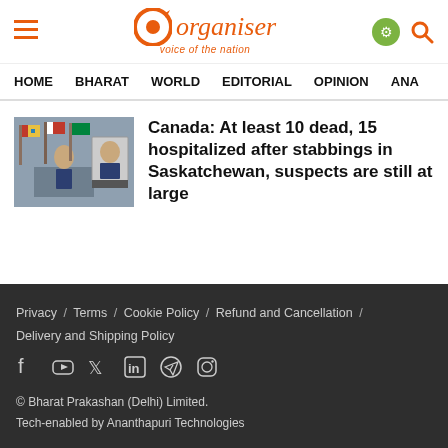Organiser – voice of the nation
HOME   BHARAT   WORLD   EDITORIAL   OPINION   ANA
[Figure (photo): Press conference photo showing an officer at a podium with flags and an inset portrait photo]
Canada: At least 10 dead, 15 hospitalized after stabbings in Saskatchewan, suspects are still at large
Privacy / Terms / Cookie Policy / Refund and Cancellation / Delivery and Shipping Policy
© Bharat Prakashan (Delhi) Limited.
Tech-enabled by Ananthapuri Technologies